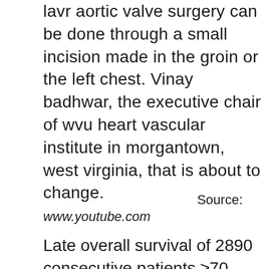lavr aortic valve surgery can be done through a small incision made in the groin or the left chest. Vinay badhwar, the executive chair of wvu heart vascular institute in morgantown, west virginia, that is about to change.
Source: www.youtube.com
Late overall survival of 2890 consecutive patients ≥70 years of age who underwent